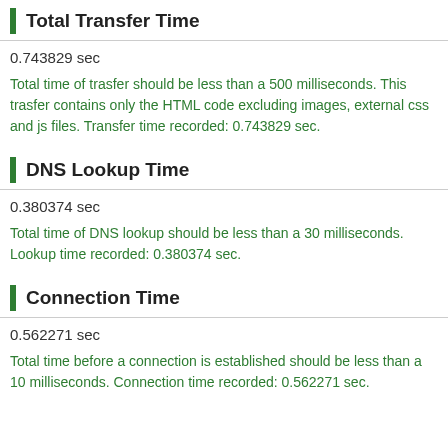Total Transfer Time
0.743829 sec
Total time of trasfer should be less than a 500 milliseconds. This trasfer contains only the HTML code excluding images, external css and js files. Transfer time recorded: 0.743829 sec.
DNS Lookup Time
0.380374 sec
Total time of DNS lookup should be less than a 30 milliseconds. Lookup time recorded: 0.380374 sec.
Connection Time
0.562271 sec
Total time before a connection is established should be less than a 10 milliseconds. Connection time recorded: 0.562271 sec.